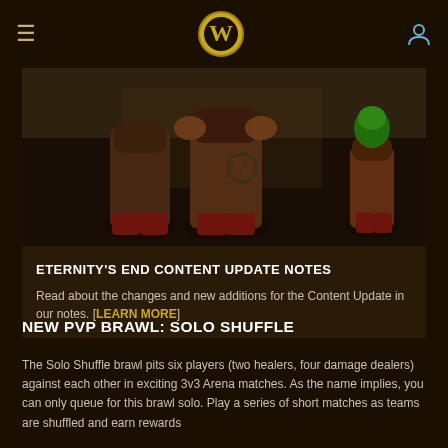World of Warcraft navigation bar with hamburger menu, WoW logo, and user icon
[Figure (screenshot): World of Warcraft game screenshot showing gnome or goblin characters in a dark environment]
ETERNITY'S END CONTENT UPDATE NOTES
Read about the changes and new additions for the Content Update in our notes. [LEARN MORE]
NEW PVP BRAWL: SOLO SHUFFLE
The Solo Shuffle brawl pits six players (two healers, four damage dealers) against each other in exciting 3v3 Arena matches. As the name implies, you can only queue for this brawl solo. Play a series of short matches as teams are shuffled and earn rewards